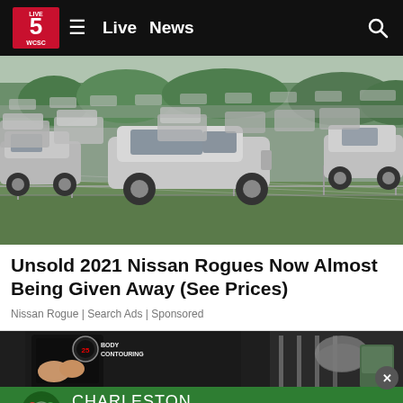Live 5 WCSC — Live News
[Figure (photo): Aerial or elevated view of a dealership lot with rows of white/silver SUVs (Nissan Rogues) parked behind a chain-link fence, with green grass in the foreground.]
Unsold 2021 Nissan Rogues Now Almost Being Given Away (See Prices)
Nissan Rogue | Search Ads | Sponsored
[Figure (photo): Advertisement image showing a body contouring treatment facility with a person and equipment visible, and a green Charleston Heating+Air banner overlay at the bottom.]